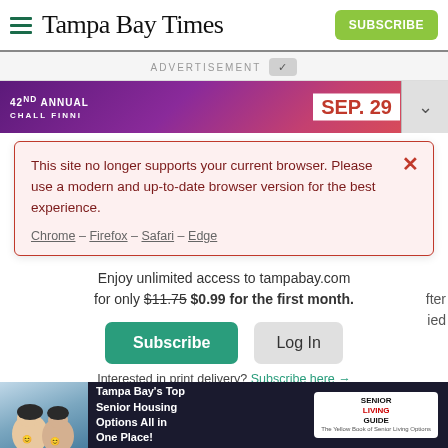Tampa Bay Times
ADVERTISEMENT
[Figure (screenshot): Purple/pink concert advertisement banner showing '42nd Annual' text and SEP 29 date]
This site no longer supports your current browser. Please use a modern and up-to-date browser version for the best experience.
Chrome – Firefox – Safari – Edge
Enjoy unlimited access to tampabay.com for only $11.75 $0.99 for the first month.
Subscribe
Log In
Interested in print delivery? Subscribe here →
[Figure (photo): Two elderly people wearing bicycle helmets smiling outdoors]
Tampa Bay's Top Senior Housing Options All in One Place!
SENIOR LIVING GUIDE